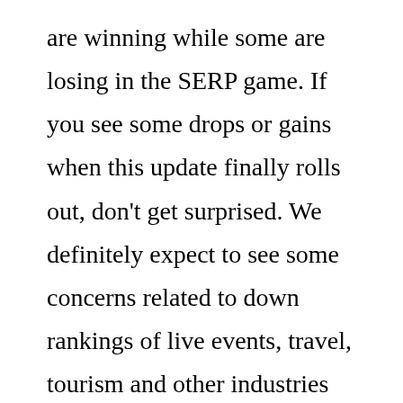are winning while some are losing in the SERP game. If you see some drops or gains when this update finally rolls out, don't get surprised. We definitely expect to see some concerns related to down rankings of live events, travel, tourism and other industries during the pandemic. Volatility of most of these categories would definitely appear.

From this algorithm update, the highest impact in this way takes place in various industries, including the ones impacted by